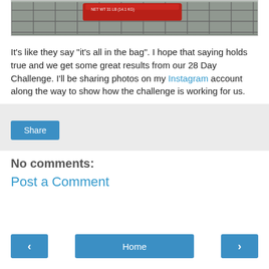[Figure (photo): Top portion of a shopping cart photo showing a red bag inside a metal wire cart, partially cropped.]
It's like they say "it's all in the bag". I hope that saying holds true and we get some great results from our 28 Day Challenge. I'll be sharing photos on my Instagram account along the way to show how the challenge is working for us.
Share
No comments:
Post a Comment